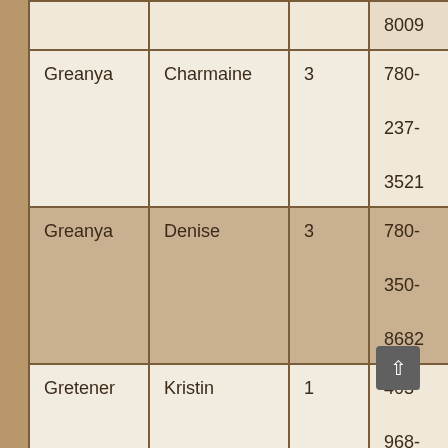| Last Name | First Name | Zone | Phone |
| --- | --- | --- | --- |
|  |  |  | 8009 |
| Greanya | Charmaine | 3 | 780-237-3521 |
| Greanya | Denise | 3 | 780-350-8682 |
| Gretener | Kristin | 1 | 403-968-0289 |
| Hansen | Alex | 4 | 587-727-2219 |
| Hansen | Kelly | 3 | 403- |